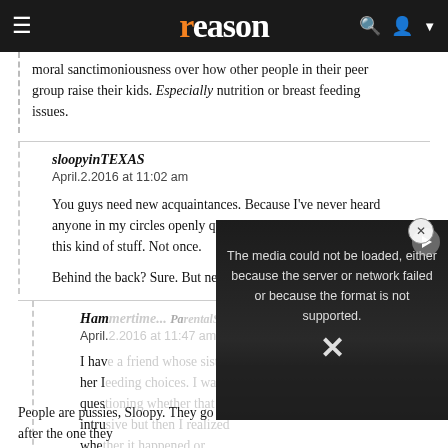reason
moral sanctimoniousness over how other people in their peer group raise their kids. Especially nutrition or breast feeding issues.
sloopyinTEXAS
April.2.2016 at 11:02 am

You guys need new acquaintances. Because I've never heard anyone in my circles openly question another person about this kind of stuff. Not once.

Behind the back? Sure. But never to someone's face.
Ham...
April....

I hav... her I... ques... intru... whe... or co...
[Figure (screenshot): Video player overlay showing error message: 'The media could not be loaded, either because the server or network failed or because the format is not supported.' with an X mark and play button icon, overlaid on a dark background with a thumbnail image.]
People are pussies, Sloopy. They go after the one they